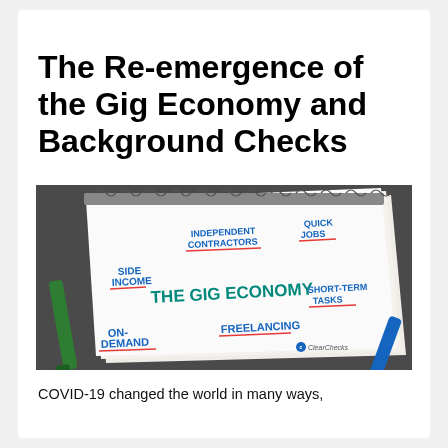The Re-emergence of the Gig Economy and Background Checks
[Figure (photo): A spiral-bound notebook on a dark textured surface with markers beside it. Written on the notebook pages in blue and pink marker are the words: SIDE INCOME, INDEPENDENT CONTRACTORS, QUICK JOBS, THE GIG ECONOMY, FREELANCING, SHORT-TERM TASKS, ON-DEMAND. A ClearChecks logo is visible in the lower right of the notebook.]
COVID-19 changed the world in many ways,